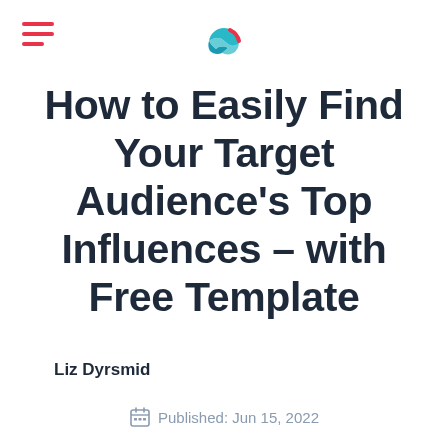How to Easily Find Your Target Audience’s Top Influences – with Free Template
Liz Dyrsmid
Published: Jun 15, 2022